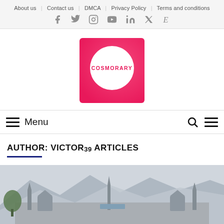About us  Contact us  DMCA  Privacy Policy  Terms and conditions
[Figure (logo): Cosmorary logo: pink/magenta square with white circle containing the text COSMORARY in pink]
Menu
AUTHOR: VICTOR 39 ARTICLES
[Figure (photo): Photograph of an ornate building or structure with spires/towers in front of misty mountains]